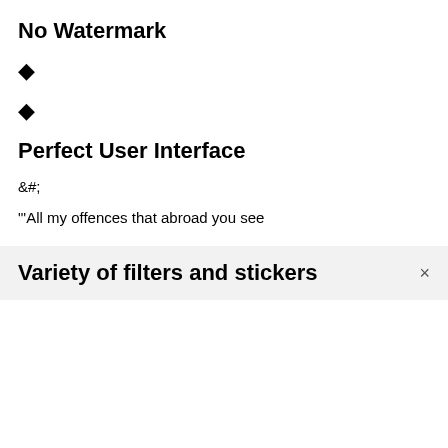No Watermark
◆
◆
Perfect User Interface
&#;
"'All my offences that abroad you see
Variety of filters and stickers